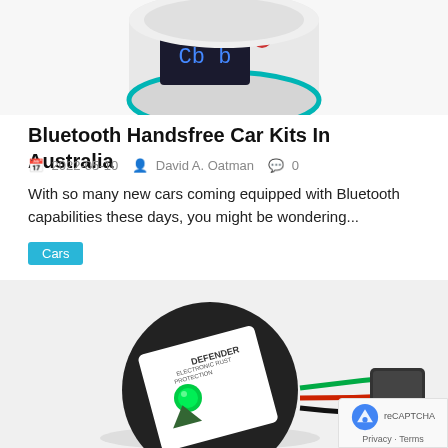[Figure (photo): Top portion of a Bluetooth car kit device with blue LED display, white cylinder shape with teal ring, cropped at top]
Bluetooth Handsfree Car Kits In Australia
📅 2022-05-10  👤 David A. Oatman  💬 0
With so many new cars coming equipped with Bluetooth capabilities these days, you might be wondering...
Cars
[Figure (photo): Defender electronic rust protection device - a round black puck with green LED indicator and wiring harness with multi-colored wires and connector]